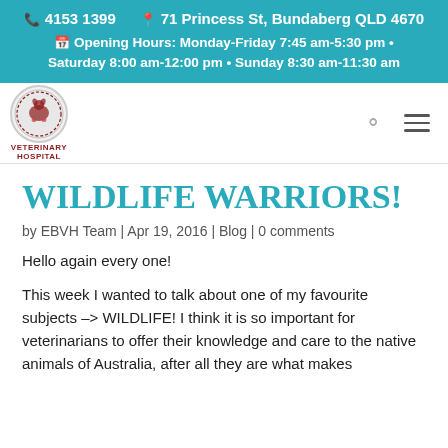📞 4153 1399   📍 71 Princess St, Bundaberg QLD 4670
📅 Opening Hours: Monday-Friday 7:45 am-5:30 pm • Saturday 8:00 am-12:00 pm • Sunday 8:30 am-11:30 am
[Figure (logo): Bundaberg East Veterinary Hospital circular logo with animal illustration and text 'Veterinary Hospital']
WILDLIFE WARRIORS!
by EBVH Team | Apr 19, 2016 | Blog | 0 comments
Hello again every one!
This week I wanted to talk about one of my favourite subjects -> WILDLIFE! I think it is so important for veterinarians to offer their knowledge and care to the native animals of Australia, after all they are what makes